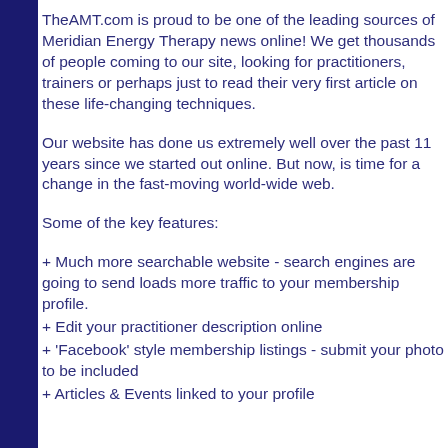TheAMT.com is proud to be one of the leading sources of Meridian Energy Therapy news online! We get thousands of people coming to our site, looking for practitioners, trainers or perhaps just to read their very first article on these life-changing techniques.
Our website has done us extremely well over the past 11 years since we started out online. But now, is time for a change in the fast-moving world-wide web.
Some of the key features:
+ Much more searchable website - search engines are going to send loads more traffic to your membership profile.
+ Edit your practitioner description online
+ 'Facebook' style membership listings - submit your photo to be included
+ Articles & Events linked to your profile